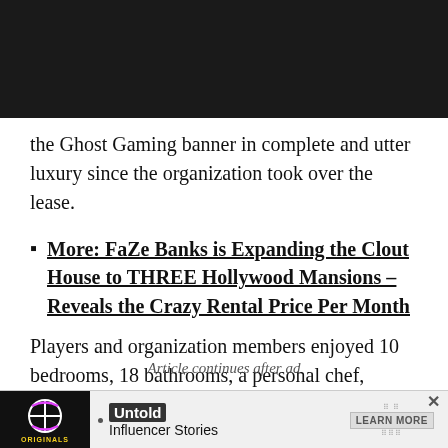the Ghost Gaming banner in complete and utter luxury since the organization took over the lease.
More: FaZe Banks is Expanding the Clout House to THREE Hollywood Mansions – Reveals the Crazy Rental Price Per Month
Players and organization members enjoyed 10 bedrooms, 18 bathrooms, a personal chef, private gym, swimming pool, and a collection of other awesome luxuries.
Article continues after ad
[Figure (other): Advertisement banner with Originals logo, Untold Influencer Stories text, and Learn More button]